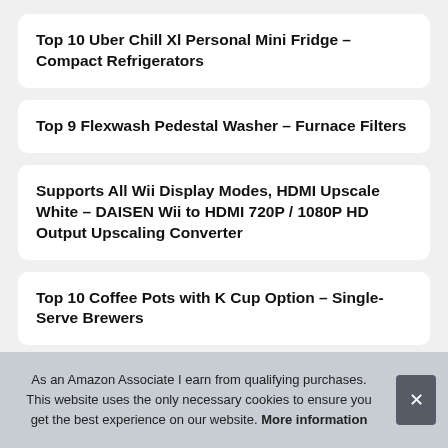Top 10 Uber Chill Xl Personal Mini Fridge – Compact Refrigerators
Top 9 Flexwash Pedestal Washer – Furnace Filters
Supports All Wii Display Modes, HDMI Upscale White – DAISEN Wii to HDMI 720P / 1080P HD Output Upscaling Converter
Top 10 Coffee Pots with K Cup Option – Single-Serve Brewers
Rec
T
As an Amazon Associate I earn from qualifying purchases. This website uses the only necessary cookies to ensure you get the best experience on our website. More information